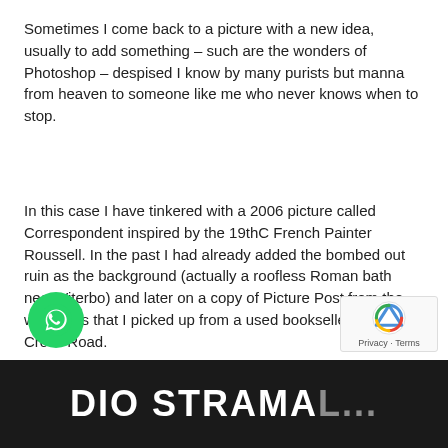Sometimes I come back to a picture with a new idea, usually to add something – such are the wonders of Photoshop – despised I know by many purists but manna from heaven to someone like me who never knows when to stop.
In this case I have tinkered with a 2006 picture called Correspondent inspired by the 19thC French Painter Roussell. In the past I had already added the bombed out ruin as the background (actually a roofless Roman bath near Viterbo) and later on a copy of Picture Post from the war years that I picked up from a used bookseller in Charing Cross Road.
[Figure (photo): Black and white photo strip at the bottom showing partial text reading 'DIO STRAMA...' in large white letters on dark background]